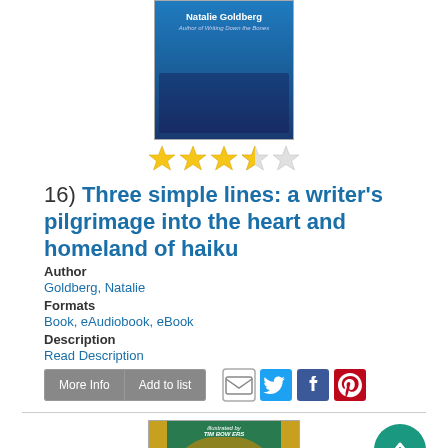[Figure (photo): Book cover for 'Three simple lines' showing blue background with author Natalie Goldberg name]
[Figure (other): Star rating: 3.5 out of 5 stars (3 full stars, 1 half star, 1 empty star)]
16) Three simple lines: a writer's pilgrimage into the heart and homeland of haiku
Author
Goldberg, Natalie
Formats
Book, eAudiobook, eBook
Description
Read Description
[Figure (screenshot): More Info and Add to list buttons, plus social sharing icons for email, Twitter, Facebook, Pinterest]
[Figure (photo): Book cover for 'Dogku' showing illustrated dog peeking through a window with illustrated by Tim Bowers text]